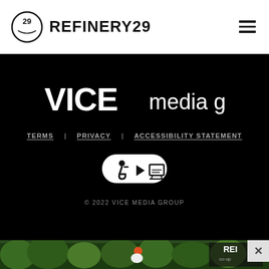REFINERY29
[Figure (logo): VICE media group logo in white text on black background]
TERMS   PRIVACY   ACCESSIBILITY STATEMENT
[Figure (logo): Accessibility and closed-caption badge icons on white oval background]
© 2022 VICE MEDIA GROUP
[Figure (photo): REI advertisement showing a person mountain biking through a forested area wearing an orange helmet, with REI co-op logo in the lower right]